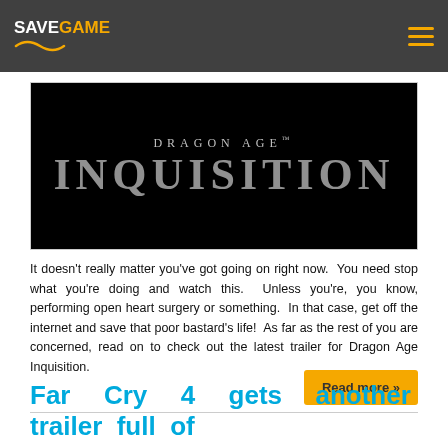SAVEGAME
[Figure (photo): Dragon Age Inquisition logo on black background]
It doesn't really matter you've got going on right now. You need stop what you're doing and watch this. Unless you're, you know, performing open heart surgery or something. In that case, get off the internet and save that poor bastard's life! As far as the rest of you are concerned, read on to check out the latest trailer for Dragon Age Inquisition.
Read more »
Far Cry 4 gets another trailer full of